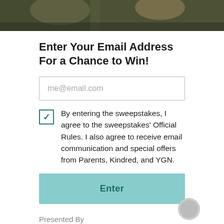[Figure (photo): Photo strip at top showing people outdoors, partially cropped]
Enter Your Email Address For a Chance to Win!
me@email.com (email input placeholder)
By entering the sweepstakes, I agree to the sweepstakes' Official Rules. I also agree to receive email communication and special offers from Parents, Kindred, and YGN.
Enter (button)
Presented By